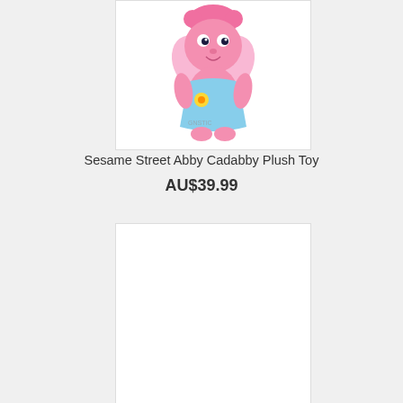[Figure (photo): Sesame Street Abby Cadabby pink plush toy doll wearing a blue dress and holding a yellow flower, with pink fairy wings and pink hair]
Sesame Street Abby Cadabby Plush Toy
AU$39.99
[Figure (photo): Second product image placeholder - white/blank product photo area]